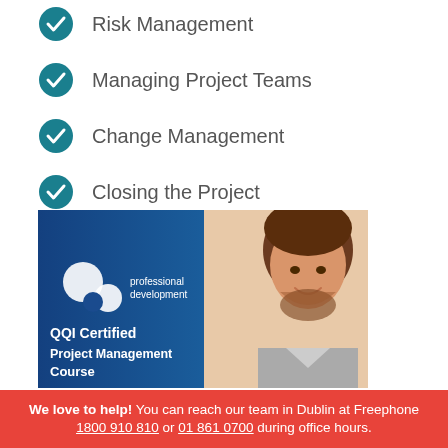Risk Management
Managing Project Teams
Change Management
Closing the Project
[Figure (photo): Promotional banner for QQI Certified Project Management Course showing a professional development logo on blue background and a smiling man in a striped shirt]
We love to help! You can reach our team in Dublin at Freephone 1800 910 810 or 01 861 0700 during office hours.